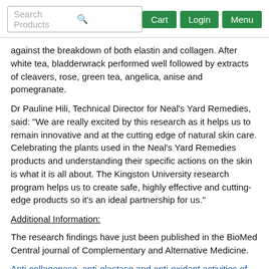Search Products | Cart | Login | Menu
against the breakdown of both elastin and collagen. After white tea, bladderwrack performed well followed by extracts of cleavers, rose, green tea, angelica, anise and pomegranate.
Dr Pauline Hili, Technical Director for Neal's Yard Remedies, said: "We are really excited by this research as it helps us to remain innovative and at the cutting edge of natural skin care. Celebrating the plants used in the Neal's Yard Remedies products and understanding their specific actions on the skin is what it is all about. The Kingston University research program helps us to create safe, highly effective and cutting-edge products so it's an ideal partnership for us."
Additional Information:
The research findings have just been published in the BioMed Central journal of Complementary and Alternative Medicine.
Anti-collagenase, anti-elastase and anti-oxidant activities of extracts from 21 plants
Tamsyn SA Thring, Pauline Hili, Declan P Naughton
BMC Complementary and Alternative Medicine 2009, 9:27 (4...